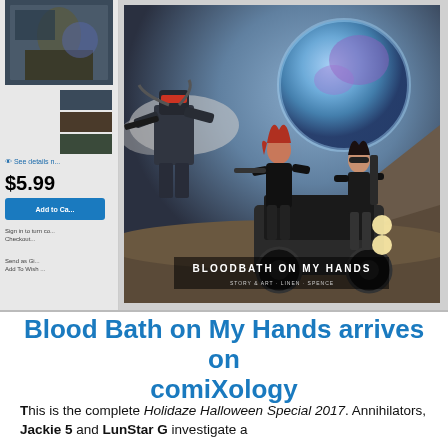[Figure (screenshot): Screenshot of a comiXology product page showing the comic 'Blood Bath on My Hands' (Holidaze Halloween Special 2017). Left sidebar shows thumbnail images, price $5.99, an 'Add to Cart' button, and links. Main area shows the comic book cover with sci-fi characters, a robot, two women with weapons, a jeep, and a planet in the background. Text at bottom of cover reads 'BLOODBATH ON MY HANDS'.]
Blood Bath on My Hands arrives on comiXology
This is the complete Holidaze Halloween Special 2017. Annihilators, Jackie 5 and LunStar G investigate a